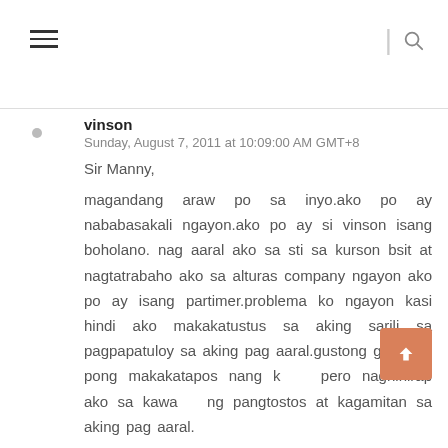navigation header with hamburger menu and search icon
vinson
Sunday, August 7, 2011 at 10:09:00 AM GMT+8
Sir Manny,
magandang araw po sa inyo.ako po ay nababasakali ngayon.ako po ay si vinson isang boholano. nag aaral ako sa sti sa kurson bsit at nagtatrabaho ako sa alturas company ngayon ako po ay isang partimer.problema ko ngayon kasi hindi ako makakatustus sa aking sarili sa pagpapatuloy sa aking pag aaral.gustong gusto ko pong makakatapos nang kurso pero naghihirap ako sa kawalan ng pangtostos at kagamitan sa aking pag aaral.